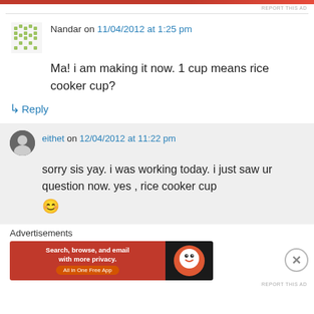[Figure (other): Top advertisement banner (red background)]
REPORT THIS AD
Nandar on 11/04/2012 at 1:25 pm
Ma! i am making it now. 1 cup means rice cooker cup?
↳ Reply
eithet on 12/04/2012 at 11:22 pm
sorry sis yay. i was working today. i just saw ur question now. yes , rice cooker cup 😊
Advertisements
[Figure (other): DuckDuckGo advertisement banner: Search, browse, and email with more privacy. All in One Free App]
REPORT THIS AD